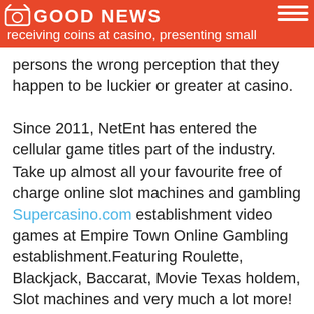GOOD NEWS
receiving coins at casino, presenting small persons the wrong perception that they happen to be luckier or greater at casino.
Since 2011, NetEnt has entered the cellular game titles part of the industry. Take up almost all your favourite free of charge online slot machines and gambling Supercasino.com establishment video games at Empire Town Online Gambling establishment.Featuring Roulette, Blackjack, Baccarat, Movie Texas holdem, Slot machines and very much a lot more! A new increasing field with followers for a sole event in the thousands, and over $1 billion in income as of 2019, e-sports, in which